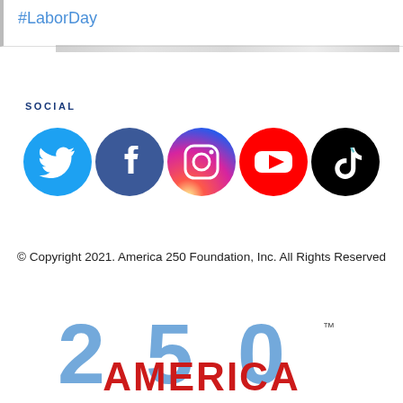#LaborDay
SOCIAL
[Figure (logo): Social media icons: Twitter (blue bird), Facebook (blue f), Instagram (gradient camera), YouTube (red play button), TikTok (black music note)]
© Copyright 2021. America 250 Foundation, Inc. All Rights Reserved
[Figure (logo): America 250 Foundation logo with large stylized '250' in blue and 'AMERICA' in red bold text]